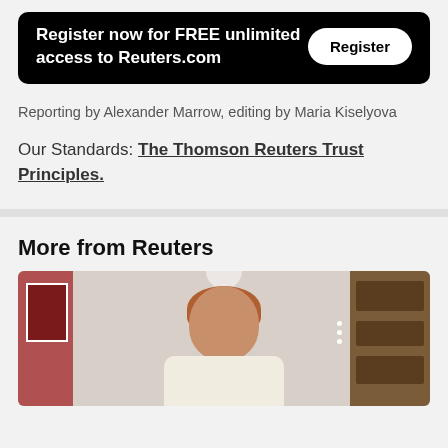[Figure (screenshot): Black registration banner with text 'Register now for FREE unlimited access to Reuters.com' and a white 'Register' button]
Reporting by Alexander Marrow, editing by Maria Kiselyova
Our Standards: The Thomson Reuters Trust Principles.
More from Reuters
[Figure (photo): Video thumbnail showing a person with reddish hair sitting at a desk, with a bookshelf on the right and a red wall on the left]